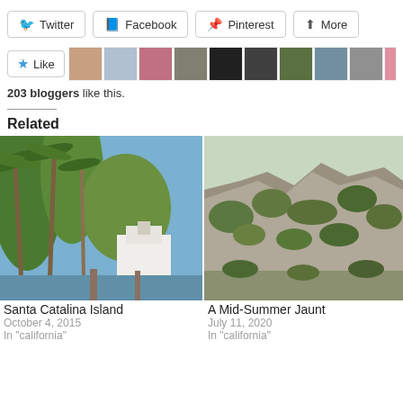[Figure (other): Social share buttons: Twitter, Facebook, Pinterest, More]
[Figure (other): Like button with star icon and row of blogger avatars]
203 bloggers like this.
Related
[Figure (photo): Photo of Santa Catalina Island showing palm trees and a white building by the waterfront with blue sky]
Santa Catalina Island
October 4, 2015
In "california"
[Figure (photo): Photo of A Mid-Summer Jaunt showing rocky hillside with green shrubs]
A Mid-Summer Jaunt
July 11, 2020
In "california"